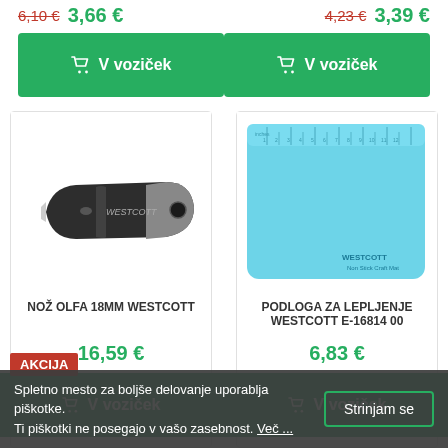6,10 € (strikethrough) 3,66 € | 4,23 € (strikethrough) 3,39 €
V voziček | V voziček (top)
[Figure (photo): Black Westcott box cutter / utility knife, 18mm OLFA style]
NOŽ OLFA 18MM WESTCOTT
16,59 €
V voziček
[Figure (photo): Light blue Westcott Non-Stick Craft Mat / cutting mat with inch ruler markings at top, E-16814 00]
PODLOGA ZA LEPLJENJE WESTCOTT E-16814 00
6,83 €
V voziček
AKCIJA
Spletno mesto za boljše delovanje uporablja piškotke. Ti piškotki ne posegajo v vašo zasebnost. Več ...
Strinjam se